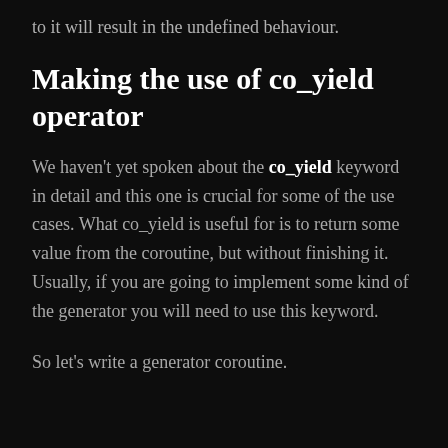to it will result in the undefined behaviour.
Making the use of co_yield operator
We haven't yet spoken about the co_yield keyword in detail and this one is crucial for some of the use cases. What co_yield is useful for is to return some value from the coroutine, but without finishing it. Usually, if you are going to implement some kind of the generator you will need to use this keyword.
So let's write a generator coroutine.